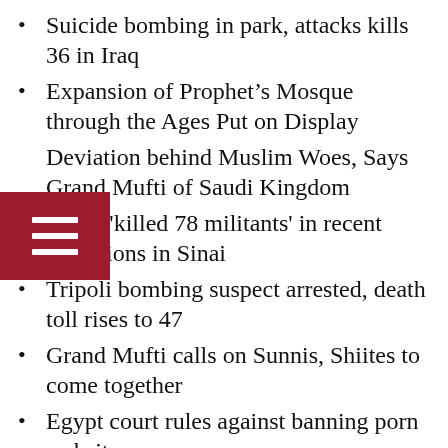Suicide bombing in park, attacks kills 36 in Iraq
Expansion of Prophet’s Mosque through the Ages Put on Display
Deviation behind Muslim Woes, Says Grand Mufti of Saudi Kingdom
Egypt 'killed 78 militants' in recent operations in Sinai
Tripoli bombing suspect arrested, death toll rises to 47
Grand Mufti calls on Sunnis, Shiites to come together
Egypt court rules against banning porn websites
Bruised Muslim Brotherhood fails to show street power in Egypt
Bahrain Shiites protest for political reforms